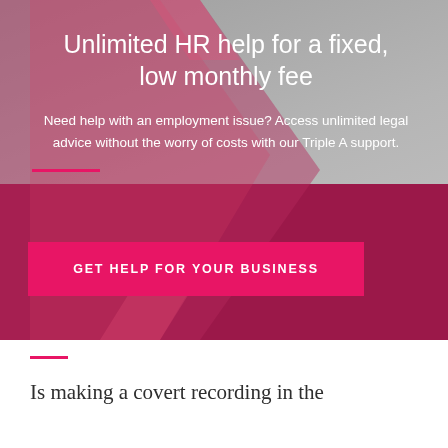[Figure (photo): HR promotional banner with woman in background, geometric pink/magenta chevron shapes, and call-to-action button on dark crimson background]
Unlimited HR help for a fixed, low monthly fee
Need help with an employment issue? Access unlimited legal advice without the worry of costs with our Triple A support.
GET HELP FOR YOUR BUSINESS
Is making a covert recording in the